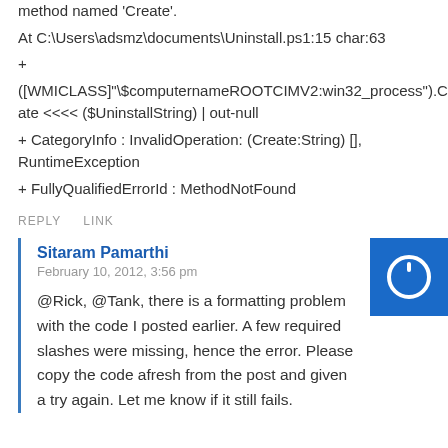method named 'Create'.
At C:\Users\adsmz\documents\Uninstall.ps1:15 char:63
+
([WMICLASS]"\$computernameROOTCIMV2:win32_process").Create <<<< ($UninstallString) | out-null
+ CategoryInfo : InvalidOperation: (Create:String) [], RuntimeException
+ FullyQualifiedErrorId : MethodNotFound
REPLY   LINK
Sitaram Pamarthi
February 10, 2012, 3:56 pm
@Rick, @Tank, there is a formatting problem with the code I posted earlier. A few required slashes were missing, hence the error. Please copy the code afresh from the post and given a try again. Let me know if it still fails.